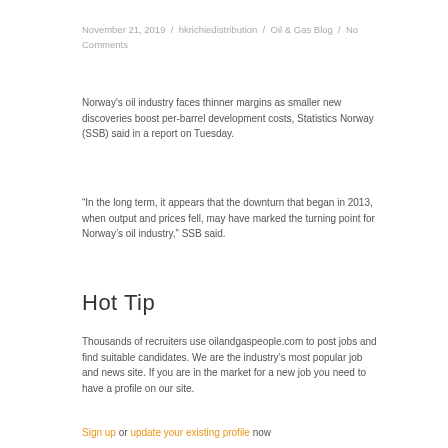November 21, 2019 / hkrichiedistribution / Oil & Gas Blog / No Comments
Norway's oil industry faces thinner margins as smaller new discoveries boost per-barrel development costs, Statistics Norway (SSB) said in a report on Tuesday.
“In the long term, it appears that the downturn that began in 2013, when output and prices fell, may have marked the turning point for Norway’s oil industry,” SSB said.
Hot Tip
Thousands of recruiters use oilandgaspeople.com to post jobs and find suitable candidates. We are the industry’s most popular job and news site. If you are in the market for a new job you need to have a profile on our site.
Sign up or update your existing profile now